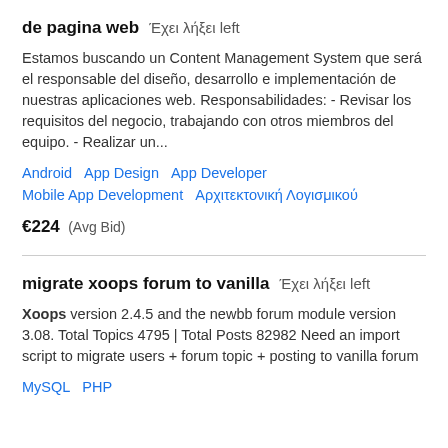de pagina web  Έχει λήξει left
Estamos buscando un Content Management System que será el responsable del diseño, desarrollo e implementación de nuestras aplicaciones web. Responsabilidades: - Revisar los requisitos del negocio, trabajando con otros miembros del equipo. - Realizar un...
Android   App Design   App Developer   Mobile App Development   Αρχιτεκτονική Λογισμικού
€224  (Avg Bid)
migrate xoops forum to vanilla  Έχει λήξει left
Xoops version 2.4.5 and the newbb forum module version 3.08. Total Topics 4795 | Total Posts 82982 Need an import script to migrate users + forum topic + posting to vanilla forum
MySQL   PHP